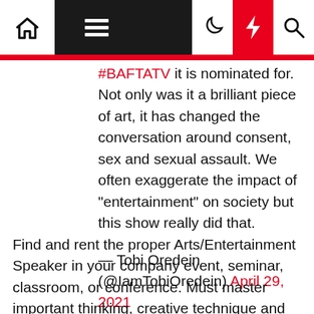Navigation bar with home, menu, moon, bolt, and search icons
#BAFTATV it is nominated for. Not only was it a brilliant piece of art, it has changed the conversation around consent, sex and sexual assault. We often exaggerate the impact of "entertainment" on society but this show really did that.

— Tobi Oredein (@IamTobiOredein) April 29, 2021
Find and rent the proper Arts/Entertainment Speaker in your company event, seminar, classroom, or conference. Must master important thinking, creative technique and design and be a pacesetter of the department. People are known to spend hours on this app, including myself, to take a break from the every day news cycle and current environment we're in. Memes are a common form of